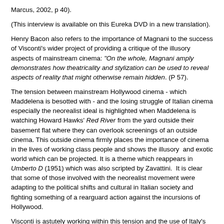Marcus, 2002, p 40).
(This interview is available on this Eureka DVD in a new translation).
Henry Bacon also refers to the importance of Magnani to the success of Visconti's wider project of providing a critique of the illusory aspects of mainstream cinema: “On the whole, Magnani amply demonstrates how theatricality and stylization can be used to reveal aspects of reality that might otherwise remain hidden. (P 57).
The tension between mainstream Hollywood cinema - which Maddelena is besotted with - and the losing struggle of Italian cinema especially the neorealist ideal is highlighted when Maddelena is watching Howard Hawks’ Red River from the yard outside their basement flat where they can overlook screenings of an outside cinema. This outside cinema firmly places the importance of cinema in the lives of working class people and shows the illusory  and exotic world which can be projected. It is a theme which reappears in Umberto D (1951) which was also scripted by Zavattini.  It is clear that some of those involved with the neorealist movement were adapting to the political shifts and cultural in Italian society and fighting something of a rearguard action against the incursions of Hollywood.
Visconti is astutely working within this tension and the use of Italy's most universally loved star allows Visconti to make a very powerful film which would be full of very specific meanings for the contemporary local audiences. Magnani herself is clearly aware of the ironies for her own position as a diva was clearly threatened by the increasing incursions of Hollywood into mainstream culture and corresponding shrinkage of the Italian industry. Her